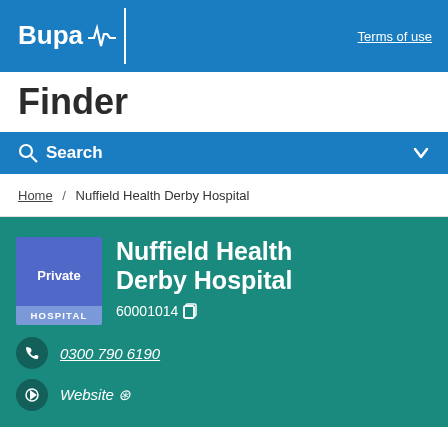Bupa | Terms of use
Finder
Search
Home / Nuffield Health Derby Hospital
Nuffield Health Derby Hospital
60001014
0300 790 6190
Website